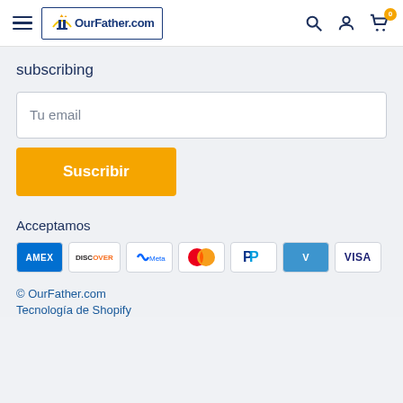OurFather.com navigation header with menu, logo, search, account, cart icons
subscribing
Tu email
Suscribir
Acceptamos
[Figure (infographic): Payment method logos: AMEX, Discover, Meta, Mastercard, PayPal, Venmo, Visa]
© OurFather.com
Tecnología de Shopify